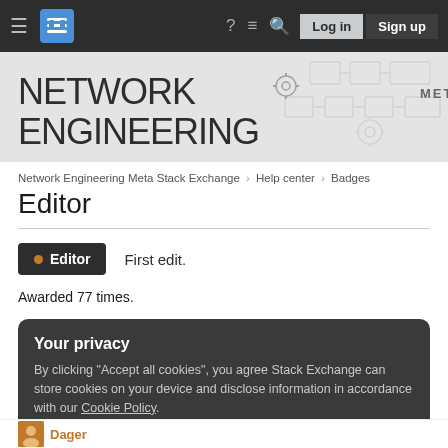Network Engineering Meta Stack Exchange navigation bar with Log in and Sign up buttons
[Figure (screenshot): Network Engineering META site banner with gear/network icon decorations on grey background]
Network Engineering Meta Stack Exchange › Help center › Badges
Editor
Editor  First edit.
Awarded 77 times.
Your privacy
By clicking "Accept all cookies", you agree Stack Exchange can store cookies on your device and disclose information in accordance with our Cookie Policy.
Accept all cookies   Customize settings